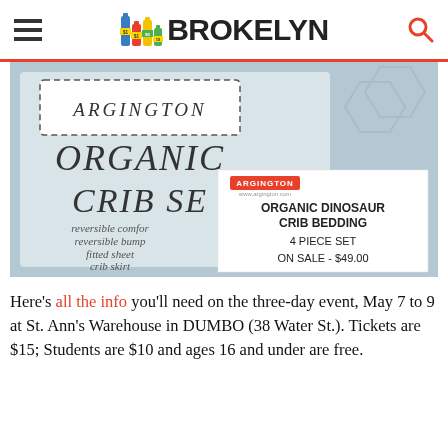BROKELYN
[Figure (photo): Photo of Argington Organic Crib Set product display with a white card showing 'ORGANIC DINOSAUR CRIB BEDDING 4 PIECE SET ON SALE - $49.00']
Here's all the info you'll need on the three-day event, May 7 to 9 at St. Ann's Warehouse in DUMBO (38 Water St.). Tickets are $15; Students are $10 and ages 16 and under are free.